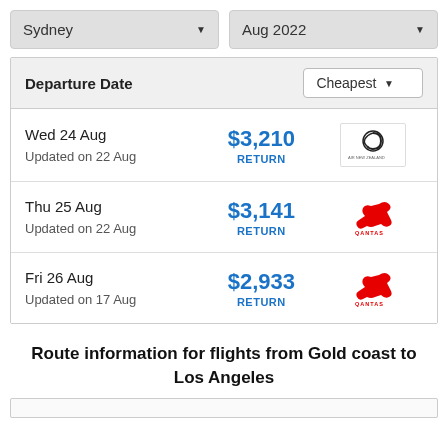| Departure Date | Cheapest |  |
| --- | --- | --- |
| Wed 24 Aug
Updated on 22 Aug | $3,210
RETURN | Air New Zealand |
| Thu 25 Aug
Updated on 22 Aug | $3,141
RETURN | Qantas |
| Fri 26 Aug
Updated on 17 Aug | $2,933
RETURN | Qantas |
Route information for flights from Gold coast to Los Angeles